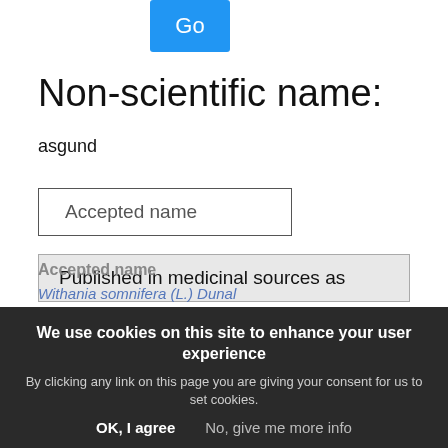[Figure (screenshot): Blue 'Go' button in top left area]
Non-scientific name:
asgund
Accepted name
Published in medicinal sources as
Other non-scientific names
1 Accepted name(s) for "asgund":
We use cookies on this site to enhance your user experience
By clicking any link on this page you are giving your consent for us to set cookies.
Accepted name
Withania somnifera (L.) Dunal
OK, I agree   No, give me more info